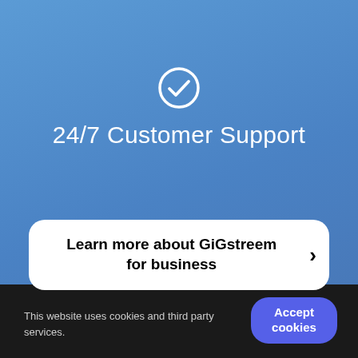[Figure (illustration): Circular checkmark icon in white outline on blue background]
24/7 Customer Support
Learn more about GiGstreem for business
This website uses cookies and third party services.
Accept cookies